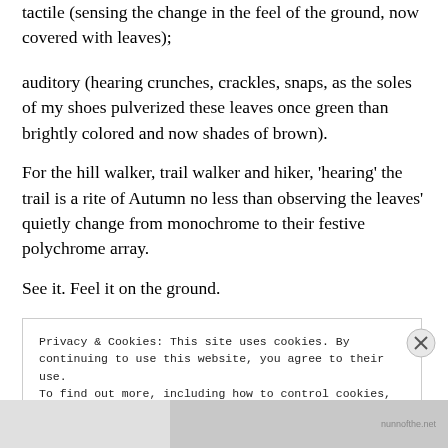tactile (sensing the change in the feel of the ground, now covered with leaves);
auditory (hearing crunches, crackles, snaps, as the soles of my shoes pulverized these leaves once green than brightly colored and now shades of brown).
For the hill walker, trail walker and hiker, ‘hearing’ the trail is a rite of Autumn no less than observing the leaves’ quietly change from monochrome to their festive polychrome array.
See it. Feel it on the ground.
Privacy & Cookies: This site uses cookies. By continuing to use this website, you agree to their use.
To find out more, including how to control cookies, see here: Cookie Policy
Close and accept